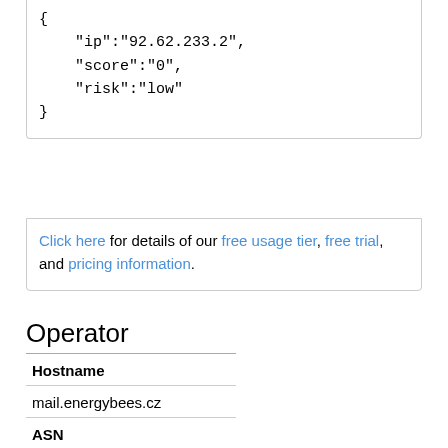{
    "ip":"92.62.233.2",
    "score":"0",
    "risk":"low"
}
Click here for details of our free usage tier, free trial, and pricing information.
Operator
| Hostname |
| --- |
| mail.energybees.cz |
| ASN |
| --- |
| 44489 - STARNET |